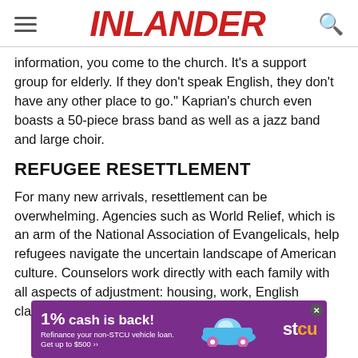INLANDER
information, you come to the church. It's a support group for elderly. If they don't speak English, they don't have any other place to go." Kaprian's church even boasts a 50-piece brass band as well as a jazz band and large choir.
REFUGEE RESETTLEMENT
For many new arrivals, resettlement can be overwhelming. Agencies such as World Relief, which is an arm of the National Association of Evangelicals, help refugees navigate the uncertain landscape of American culture. Counselors work directly with each family with all aspects of adjustment: housing, work, English classes, healthcare and finding a school for the kids.
[Figure (other): STCU advertisement banner: '1% cash is back! Refinance your non-STCU vehicle loan. Get up to $500 >>' with a blue car illustration and STCU logo on purple background.]